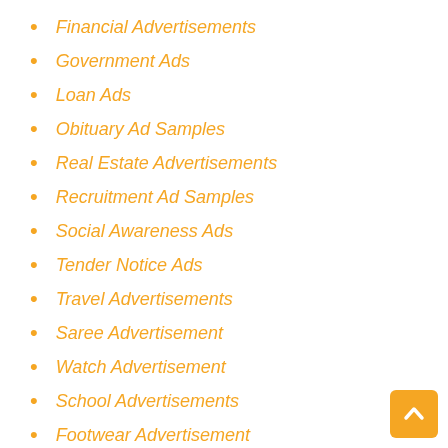Financial Advertisements
Government Ads
Loan Ads
Obituary Ad Samples
Real Estate Advertisements
Recruitment Ad Samples
Social Awareness Ads
Tender Notice Ads
Travel Advertisements
Saree Advertisement
Watch Advertisement
School Advertisements
Footwear Advertisement
Soap Advertisements